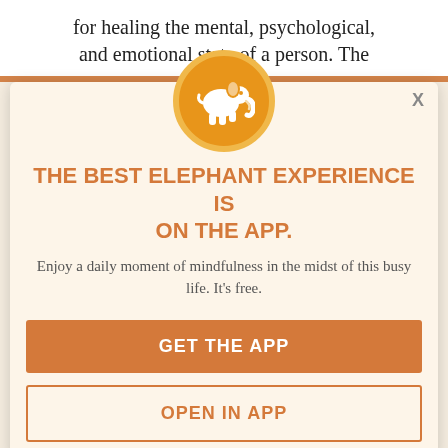for healing the mental, psychological, and emotional state of a person. The
same techniques do not work on everyone. People are made differently, so they need their own unique therapy that works for them. A therapist studies the best approach and should be able to look for that to happen. A recovering he...
[Figure (logo): Elephant Journal app logo — white elephant silhouette on orange circle with yellow border]
THE BEST ELEPHANT EXPERIENCE IS ON THE APP.
Enjoy a daily moment of mindfulness in the midst of this busy life. It's free.
GET THE APP
OPEN IN APP